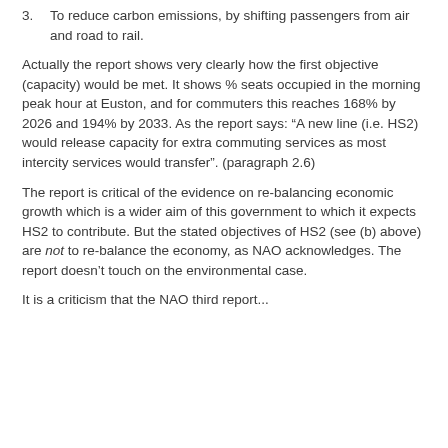3. To reduce carbon emissions, by shifting passengers from air and road to rail.
Actually the report shows very clearly how the first objective (capacity) would be met. It shows % seats occupied in the morning peak hour at Euston, and for commuters this reaches 168% by 2026 and 194% by 2033. As the report says: “A new line (i.e. HS2) would release capacity for extra commuting services as most intercity services would transfer”. (paragraph 2.6)
The report is critical of the evidence on re-balancing economic growth which is a wider aim of this government to which it expects HS2 to contribute. But the stated objectives of HS2 (see (b) above) are not to re-balance the economy, as NAO acknowledges. The report doesn’t touch on the environmental case.
It is a criticism that the NAO third report...